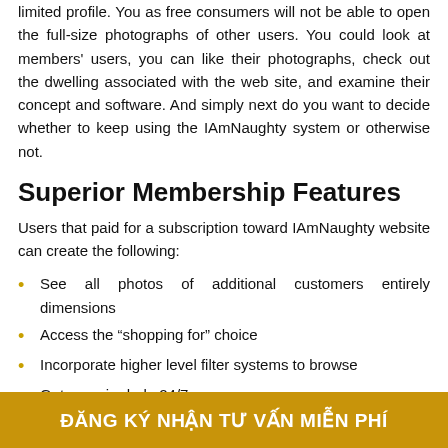limited profile. You as free consumers will not be able to open the full-size photographs of other users. You could look at members' users, you can like their photographs, check out the dwelling associated with the web site, and examine their concept and software. And simply next do you want to decide whether to keep using the IAmNaughty system or otherwise not.
Superior Membership Features
Users that paid for a subscription toward IAmNaughty website can create the following:
See all photos of additional customers entirely dimensions
Access the “shopping for” choice
Incorporate higher level filter systems to browse
Get superior help 24/7
ĐĂNG KÝ NHẬN TƯ VẤN MIỄN PHÍ